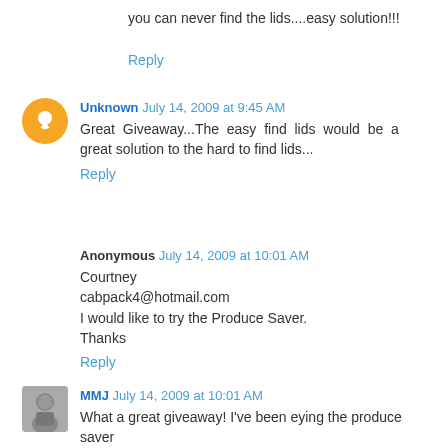you can never find the lids....easy solution!!!
Reply
Unknown July 14, 2009 at 9:45 AM
Great Giveaway...The easy find lids would be a great solution to the hard to find lids...
Reply
Anonymous July 14, 2009 at 10:01 AM
Courtney
cabpack4@hotmail.com
I would like to try the Produce Saver.
Thanks
Reply
MMJ July 14, 2009 at 10:01 AM
What a great giveaway! I've been eying the produce saver